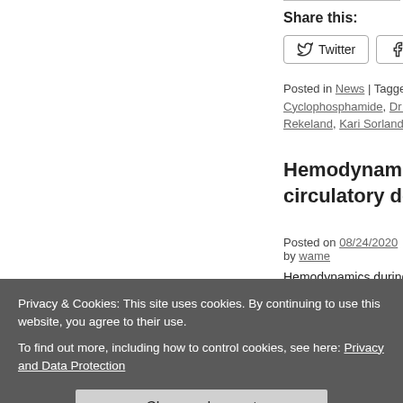Share this:
Twitter | Facebook
Posted in News | Tagged abnorm, Cyclophosphamide, Dr Olav Me, Rekeland, Kari Sorland, Lis Rib
Hemodynamics dur circulatory decompe
Posted on 08/24/2020 by wame
Hemodynamics during the 10... ME/CFS patients by Jihyun L, Brayden Yellman, Lucinda Ba
Share this:
Twitter | Facebook
Privacy & Cookies: This site uses cookies. By continuing to use this website, you agree to their use. To find out more, including how to control cookies, see here: Privacy and Data Protection
Close and accept